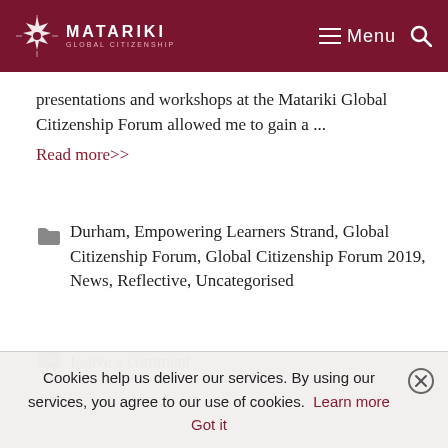MATARIKI GLOBAL CITIZENSHIP — Menu
presentations and workshops at the Matariki Global Citizenship Forum allowed me to gain a ...
Read more>>
Durham, Empowering Learners Strand, Global Citizenship Forum, Global Citizenship Forum 2019, News, Reflective, Uncategorised
Leave a comment
Cookies help us deliver our services. By using our services, you agree to our use of cookies. Learn more  Got it